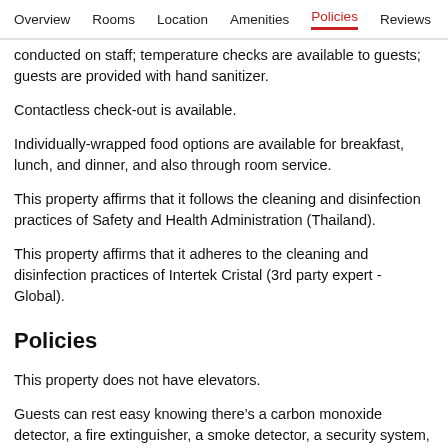Overview  Rooms  Location  Amenities  Policies  Reviews
conducted on staff; temperature checks are available to guests; guests are provided with hand sanitizer.
Contactless check-out is available.
Individually-wrapped food options are available for breakfast, lunch, and dinner, and also through room service.
This property affirms that it follows the cleaning and disinfection practices of Safety and Health Administration (Thailand).
This property affirms that it adheres to the cleaning and disinfection practices of Intertek Cristal (3rd party expert - Global).
Policies
This property does not have elevators.
Guests can rest easy knowing there's a carbon monoxide detector, a fire extinguisher, a smoke detector, a security system, and a first aid kit on site.
Please note that a phone number and an eating...